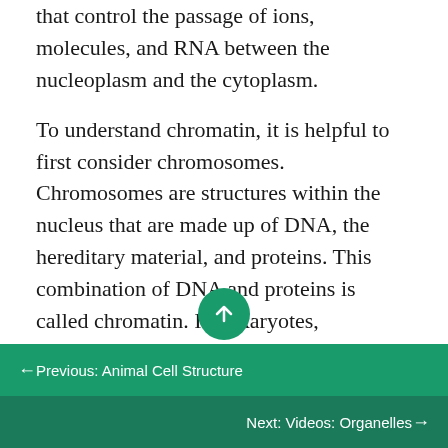that control the passage of ions, molecules, and RNA between the nucleoplasm and the cytoplasm.
To understand chromatin, it is helpful to first consider chromosomes. Chromosomes are structures within the nucleus that are made up of DNA, the hereditary material, and proteins. This combination of DNA and proteins is called chromatin. In eukaryotes, chromosomes are linear structures. Every species has a specific number of chromosomes in the nucleus of its body cells. For example, in humans, the chromosome number is 46, whereas in fruit
← Previous: Animal Cell Structure
Next: Videos: Organelles →